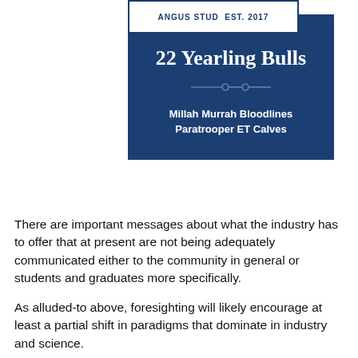ANGUS STUD  EST. 2017
22 Yearling Bulls
Millah Murrah Bloodlines
Paratrooper ET Calves
There are important messages about what the industry has to offer that at present are not being adequately communicated either to the community in general or students and graduates more specifically.
As alluded-to above, foresighting will likely encourage at least a partial shift in paradigms that dominate in industry and science.